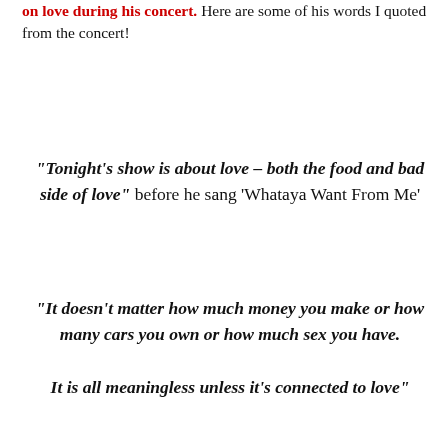on love during his concert. Here are some of his words I quoted from the concert!
"Tonight's show is about love – both the food and bad side of love" before he sang 'Whataya Want From Me'
"It doesn't matter how much money you make or how many cars you own or how much sex you have.

It is all meaningless unless it's connected to love"